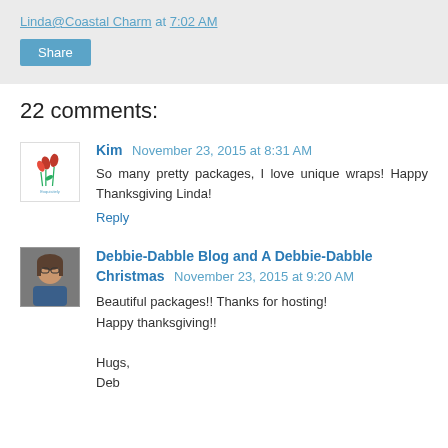Linda@Coastal Charm at 7:02 AM
Share
22 comments:
Kim  November 23, 2015 at 8:31 AM
So many pretty packages, I love unique wraps! Happy Thanksgiving Linda!
Reply
Debbie-Dabble Blog and A Debbie-Dabble Christmas  November 23, 2015 at 9:20 AM
Beautiful packages!! Thanks for hosting!
Happy thanksgiving!!

Hugs,
Deb